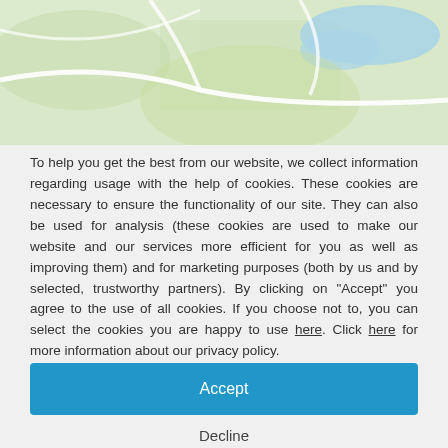[Figure (map): Partial view of a map showing green terrain and blue water areas with white paths/roads]
To help you get the best from our website, we collect information regarding usage with the help of cookies. These cookies are necessary to ensure the functionality of our site. They can also be used for analysis (these cookies are used to make our website and our services more efficient for you as well as improving them) and for marketing purposes (both by us and by selected, trustworthy partners). By clicking on "Accept" you agree to the use of all cookies. If you choose not to, you can select the cookies you are happy to use here. Click here for more information about our privacy policy.
Accept
Decline
Configure